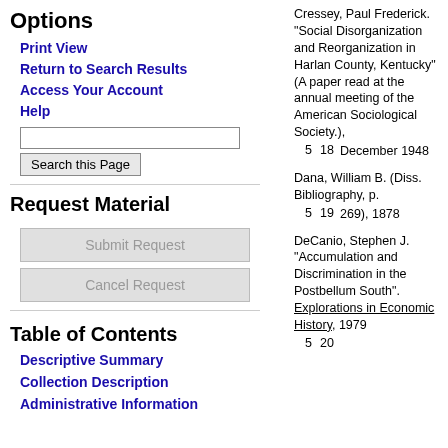Options
Print View
Return to Search Results
Access Your Account
Help
Request Material
Table of Contents
Descriptive Summary
Collection Description
Administrative Information
Cressey, Paul Frederick. "Social Disorganization and Reorganization in Harlan County, Kentucky" (A paper read at the annual meeting of the American Sociological Society.), December 1948
5   18
Dana, William B. (Diss. Bibliography, p. 269), 1878
5   19
DeCanio, Stephen J. "Accumulation and Discrimination in the Postbellum South". Explorations in Economic History, 1979
5   20